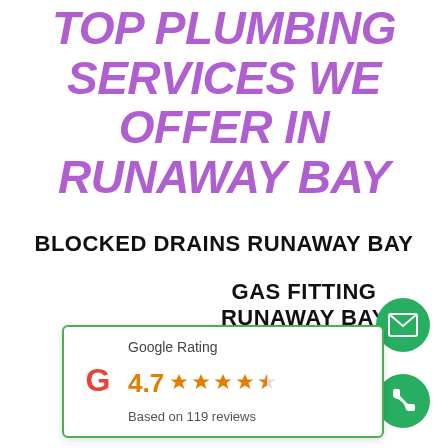TOP PLUMBING SERVICES WE OFFER IN RUNAWAY BAY
BLOCKED DRAINS RUNAWAY BAY
GAS FITTING RUNAWAY BAY
[Figure (infographic): Google Rating widget showing 4.7 stars based on 119 reviews, with Google G logo and star icons]
...IAWAY BAY
[Figure (infographic): Green circle mail/envelope icon button]
[Figure (infographic): Green circle phone icon button]